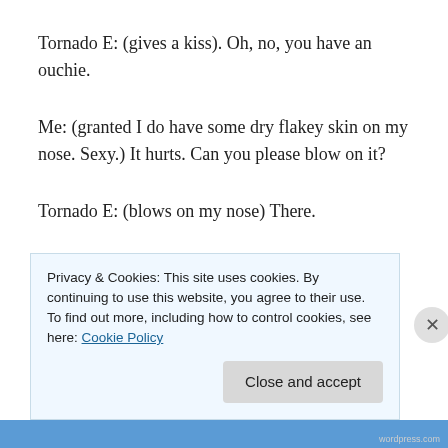Tornado E: (gives a kiss).  Oh, no, you have an ouchie.
Me: (granted I do have some dry flakey skin on my nose.  Sexy.)  It hurts.  Can you please blow on it?
Tornado E: (blows on my nose) There.
Me: Thank you, Dr. Tornado E.
Tornado E: You have a scrape on your nose.  It's ouchie like cactus.  (He moves
Privacy & Cookies: This site uses cookies. By continuing to use this website, you agree to their use.
To find out more, including how to control cookies, see here: Cookie Policy
Close and accept